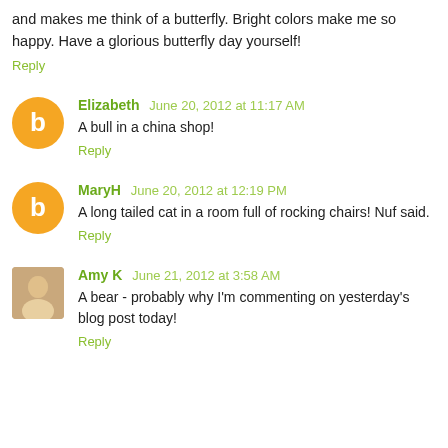and makes me think of a butterfly. Bright colors make me so happy. Have a glorious butterfly day yourself!
Reply
Elizabeth  June 20, 2012 at 11:17 AM
A bull in a china shop!
Reply
MaryH  June 20, 2012 at 12:19 PM
A long tailed cat in a room full of rocking chairs! Nuf said.
Reply
Amy K  June 21, 2012 at 3:58 AM
A bear - probably why I'm commenting on yesterday's blog post today!
Reply